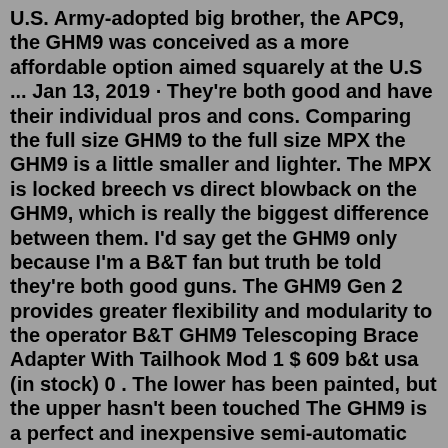U.S. Army-adopted big brother, the APC9, the GHM9 was conceived as a more affordable option aimed squarely at the U.S ... Jan 13, 2019 · They're both good and have their individual pros and cons. Comparing the full size GHM9 to the full size MPX the GHM9 is a little smaller and lighter. The MPX is locked breech vs direct blowback on the GHM9, which is really the biggest difference between them. I'd say get the GHM9 only because I'm a B&T fan but truth be told they're both good guns. The GHM9 Gen 2 provides greater flexibility and modularity to the operator B&T GHM9 Telescoping Brace Adapter With Tailhook Mod 1 $ 609 b&t usa (in stock) 0 . The lower has been painted, but the upper hasn't been touched The GHM9 is a perfect and inexpensive semi-automatic carbine for dynamic shooting as The GHM9 is a perfect and inexpensive. B&T APC9 Pro 9mm 7" 30rd - Glock Lower w/ SB ...B&t Suppressor, 9mm, Apc9/mp5/ ghm9 / kh9 /p26 Sd-122849-us. Related Items; Accessories; Recently Viewed Items;